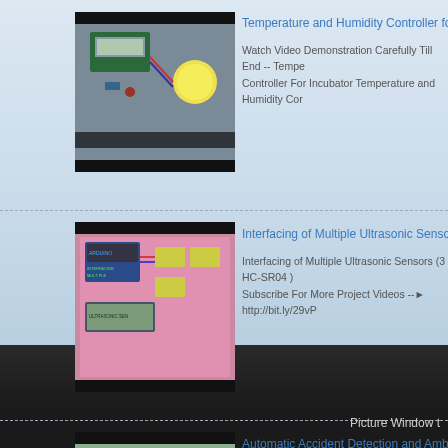[Figure (screenshot): Thumbnail image of electronics/Arduino project with LCD display and components for Temperature and Humidity Controller for Infant Incubator]
Temperature and Humidity Controller for Infant Incubato...
Watch Video Demonstration Carefully Till End -- Tempe... Controller For Incubator Temperature and Humidity Cor...
[Figure (screenshot): Thumbnail image of Arduino project with multiple ultrasonic sensors on pink background]
Interfacing of Multiple Ultrasonic Sensors (3 HC-SR04 )...
Interfacing of Multiple Ultrasonic Sensors (3 HC-SR04 )... Subscribe For More Project Videos -- ► http://bit.ly/29vP...
[Figure (screenshot): Thumbnail image showing electronic components and a smartphone for Automatic Accident Detection and Ambulance Rescue System]
Automatic Accident Detection and Ambulance Rescue S...
IEEE project titles 2016 | IEEE Projects, 1.     A CONC... FOR IOT-BASED HEALTHCARE SYSTEM USING CLO...
Picture Window t...